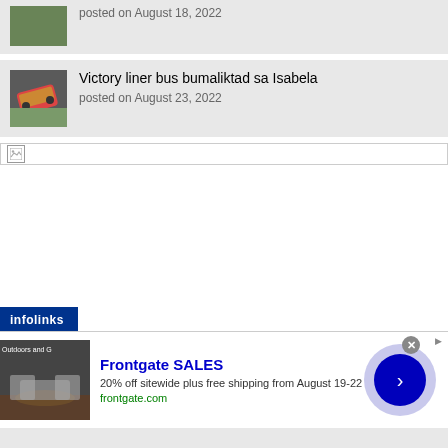posted on August 18, 2022
Victory liner bus bumaliktad sa Isabela
posted on August 23, 2022
[Figure (screenshot): Broken image placeholder icon in a bordered area]
[Figure (infographic): Infolinks advertisement banner for Frontgate SALES: 20% off sitewide plus free shipping from August 19-22, frontgate.com]